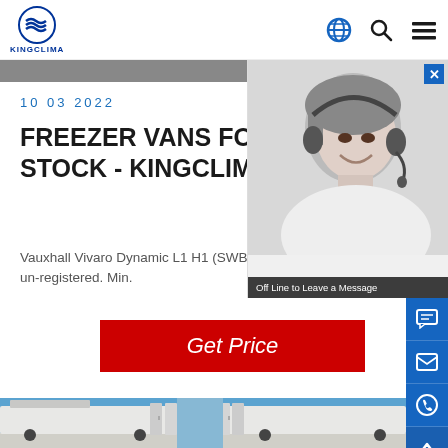KINGCLIMA - logo and navigation icons
10 03 2022
FREEZER VANS FOR SALE | NEW VANS IN-STOCK - KINGCLIMA
Vauxhall Vivaro Dynamic L1 H1 (SWB) 2700 | Refrigerated Van (Freezer) Year: New and un-registered. Min.
[Figure (other): Red Get Price button]
[Figure (photo): Customer service agent photo with headset, black and white, with Off Line to Leave a Message overlay bar]
[Figure (photo): Bottom portion showing white freezer vans with open rear doors against blue sky background]